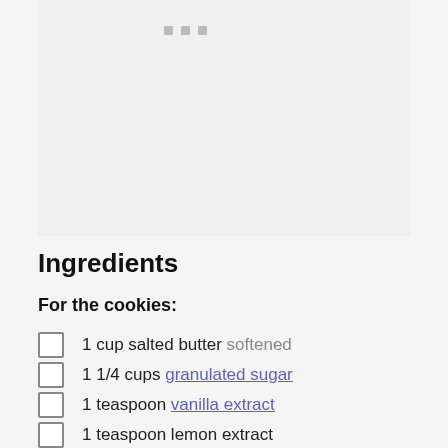[Figure (photo): Image placeholder area with three small gray squares/dots near the top center, representing a photo carousel or loading image area.]
Ingredients
For the cookies:
1 cup salted butter softened
1 1/4 cups granulated sugar
1 teaspoon vanilla extract
1 teaspoon lemon extract
zest of 1 lemon